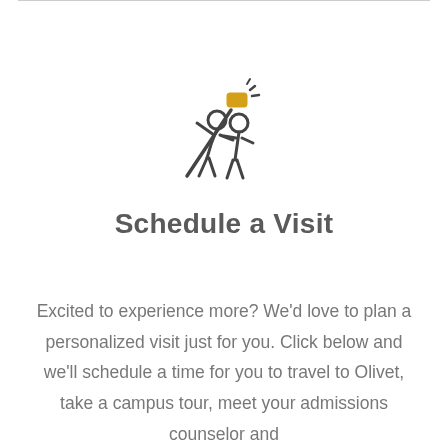[Figure (illustration): Line art illustration of two people taking a selfie with a smartphone on a stick. The phone emits motion lines indicating it is active. Both figures are drawn in a simple stick-figure style with gray outlines.]
Schedule a Visit
Excited to experience more? We'd love to plan a personalized visit just for you. Click below and we'll schedule a time for you to travel to Olivet, take a campus tour, meet your admissions counselor and